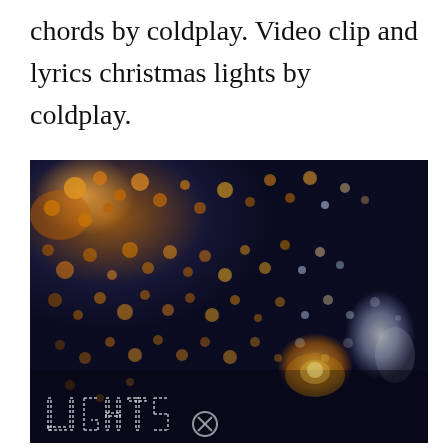chords by coldplay. Video clip and lyrics christmas lights by coldplay.
[Figure (photo): Dark bokeh photograph of Christmas lights out of focus against a dark night background, with the word 'LIGHTS' shown in dashed outline letters at the bottom left, and a circled X symbol near bottom center-right. Warm orange and white light spots scattered throughout.]